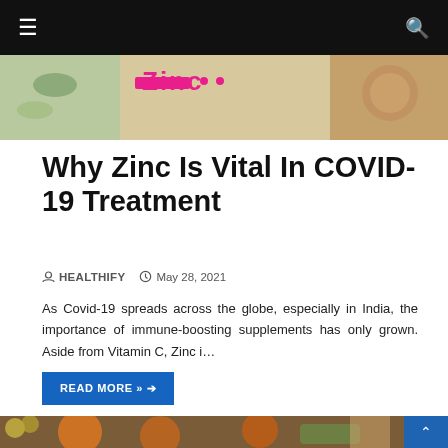≡  [navigation bar]  🔍
[Figure (photo): Partial view of a Zinc article hero image with colorful food items and pink/magenta 'Zinc' text graphic partially visible]
Why Zinc Is Vital In COVID-19 Treatment
HEALTHIFY  May 28, 2021
As Covid-19 spreads across the globe, especially in India, the importance of immune-boosting supplements has only grown. Aside from Vitamin C, Zinc i…
READ MORE »  →
[Figure (photo): Overhead view of people eating a meal at a table with various orange plates of food, fruits, and drinks]